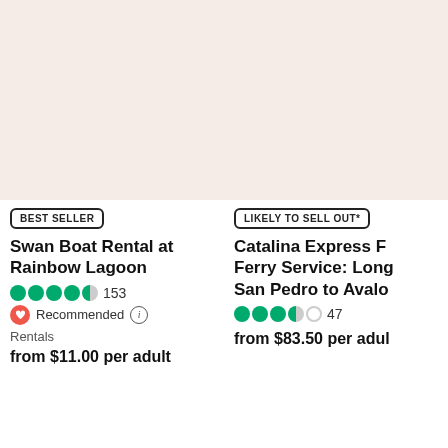[Figure (photo): Left card placeholder image with pink/beige background]
BEST SELLER
Swan Boat Rental at Rainbow Lagoon
4.5 stars, 153 reviews
Recommended (i)
Rentals
from $11.00 per adult
[Figure (photo): Right card placeholder image with pink/beige background]
LIKELY TO SELL OUT*
Catalina Express Ferry Service: Long San Pedro to Avalo
3.5 stars, 47 reviews
from $83.50 per adult